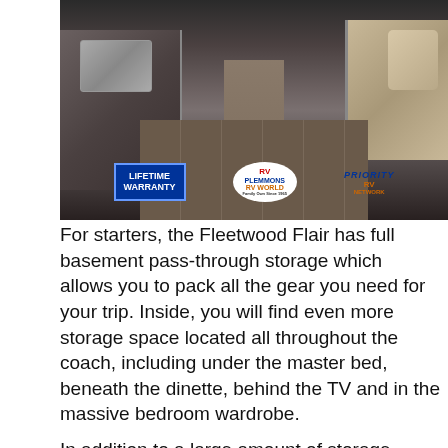[Figure (photo): Interior photo of a Fleetwood Flair RV showing the kitchen on the left, hardwood-style flooring down the center aisle, and seating/couch on the right. Three logos overlaid at the bottom: 'Lifetime Warranty' in blue, 'Plemmons RV World' oval logo, and 'Priority RV Network' logo.]
For starters, the Fleetwood Flair has full basement pass-through storage which allows you to pack all the gear you need for your trip. Inside, you will find even more storage space located all throughout the coach, including under the master bed, beneath the dinette, behind the TV and in the massive bedroom wardrobe.
In addition to a large amount of storage space, all Fleetwood Flair floorplans include a hide-a-loft drop down bunk over the driver's seat. This extra bed provides a convenient sleeping space